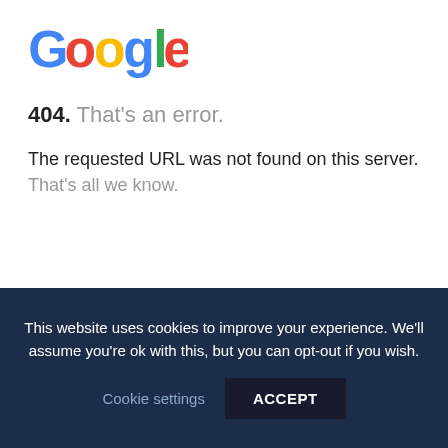[Figure (logo): Google logo in multicolor text: G in blue, o in red, o in yellow, g in blue, l in green, e in red]
404. That's an error.
The requested URL was not found on this server. That's all we know.
This website uses cookies to improve your experience. We'll assume you're ok with this, but you can opt-out if you wish.
Cookie settings   ACCEPT